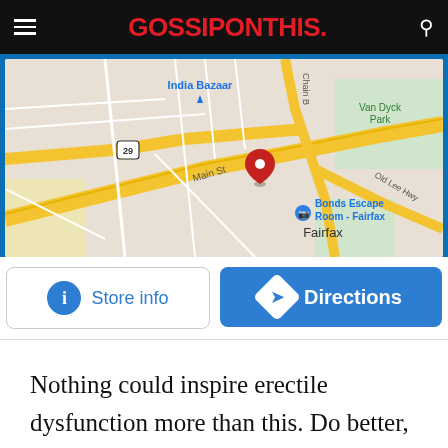GOSSIPONTHIS.
[Figure (map): Google Maps screenshot showing Bonds Escape Room - Fairfax location, with India Bazaar, Van Dyck Park, Main St, Chain B, Old Lee Hwy, and Fairfax labeled. A red location pin marks the business.]
Store info
Directions
Nothing could inspire erectile dysfunction more than this. Do better, Cirque du Soleli.